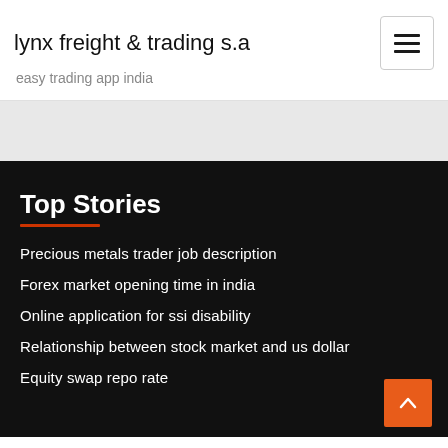lynx freight & trading s.a
easy trading app india
Top Stories
Precious metals trader job description
Forex market opening time in india
Online application for ssi disability
Relationship between stock market and us dollar
Equity swap repo rate